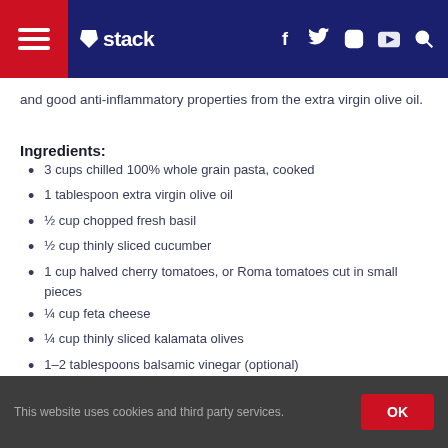stack
and good anti-inflammatory properties from the extra virgin olive oil.
Ingredients:
3 cups chilled 100% whole grain pasta, cooked
1 tablespoon extra virgin olive oil
½ cup chopped fresh basil
½ cup thinly sliced cucumber
1 cup halved cherry tomatoes, or Roma tomatoes cut in small pieces
¼ cup feta cheese
¼ cup thinly sliced kalamata olives
1–2 tablespoons balsamic vinegar (optional)
This website uses cookies and third party services.